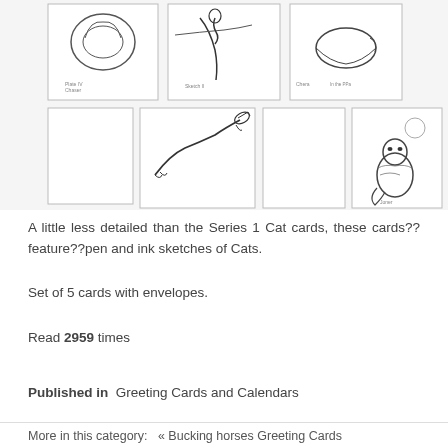[Figure (illustration): Grid of pen and ink cat sketch cards: top row shows three framed sketches (curled cat, cat on branch, curled sleeping cat); bottom row shows two framed sketches (running/leaping cat, sitting cat with crescent moon).]
A little less detailed than the Series 1 Cat cards, these cards?? feature??pen and ink sketches of Cats.
Set of 5 cards with envelopes.
Read 2959 times
Published in  Greeting Cards and Calendars
More in this category:   « Bucking horses Greeting Cards